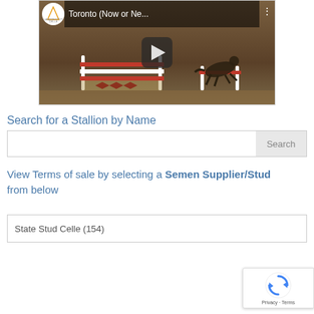[Figure (screenshot): YouTube video thumbnail showing a horse jumping over an obstacle in an indoor arena. Title reads 'Toronto (Now or Ne...' with Landgestut Celle logo in top-left and a play button in the center.]
Search for a Stallion by Name
[Figure (screenshot): Search input field with a 'Search' button on the right side.]
View Terms of sale by selecting a Semen Supplier/Stud from below
[Figure (screenshot): Dropdown selector showing 'State Stud Celle  (154)']
[Figure (other): Google reCAPTCHA badge in bottom-right corner showing reCAPTCHA logo and 'Privacy - Terms' text.]